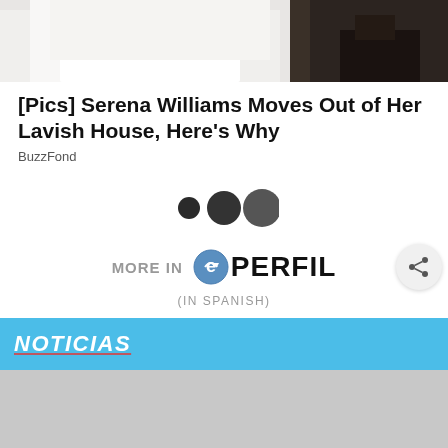[Figure (photo): Partial photo visible at top of page, showing white fabric or dress against dark background]
[Pics] Serena Williams Moves Out of Her Lavish House, Here's Why
BuzzFond
[Figure (infographic): Three dots/circles of increasing size in dark grey, serving as a loading or navigation indicator]
[Figure (logo): MORE IN ePERFIL logo with share button, and (IN SPANISH) text below]
(IN SPANISH)
[Figure (screenshot): NOTICIAS blue banner section header with grey image placeholder area below]